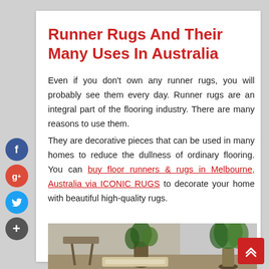Runner Rugs And Their Many Uses In Australia
Even if you don't own any runner rugs, you will probably see them every day. Runner rugs are an integral part of the flooring industry. There are many reasons to use them.
They are decorative pieces that can be used in many homes to reduce the dullness of ordinary flooring. You can buy floor runners & rugs in Melbourne, Australia via ICONIC RUGS to decorate your home with beautiful high-quality rugs.
[Figure (photo): Interior room photo showing a chair, plants, and flooring with a rug runner]